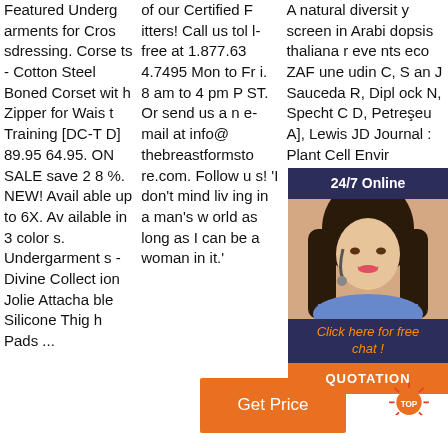Featured Undergarments for Crossdressing. Corsets - Cotton Steel Boned Corset with Zipper for Waist Training [DC-TD] 89.95 64.95. ON SALE save 28 %. NEW! Available up to 6X. Available in 3 colors. Undergarments - Divine Collection Jolie Attachable Silicone Thigh Pads ...
of our Certified Fitters! Call us toll-free at 1.877.634.7495 Mon to Fri. 8 am to 4 pm PST. Or send us an e-mail at info@thebreastformstore.com. Follow us! 'I don't mind living in a man's world as long as I can be a woman in it.'
A natural diversity screen in Arabidopsis thaliana reveals events eco ZAF une udin C, S an J Sauceda R, Diplock N, Specht CD, Petreşeu A], Lewis JD Journal : Plant Cell Envir
[Figure (infographic): Customer support chat widget with dark blue header showing '24/7 Online', photo of woman with headset, dark blue footer text 'Click here for free chat!', and orange QUOTATION button]
[Figure (other): Orange 'Get Price' button]
[Figure (other): Orange and red TOP badge/button in bottom right corner]